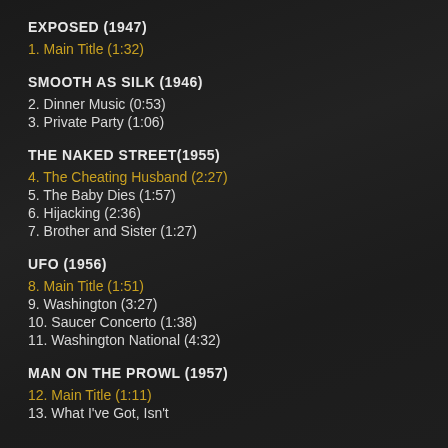EXPOSED (1947)
1. Main Title (1:32)
SMOOTH AS SILK (1946)
2. Dinner Music (0:53)
3. Private Party (1:06)
THE NAKED STREET(1955)
4. The Cheating Husband (2:27)
5. The Baby Dies (1:57)
6. Hijacking (2:36)
7. Brother and Sister (1:27)
UFO (1956)
8. Main Title (1:51)
9. Washington (3:27)
10. Saucer Concerto (1:38)
11. Washington National (4:32)
MAN ON THE PROWL (1957)
12. Main Title (1:11)
13. What I've Got, Isn't